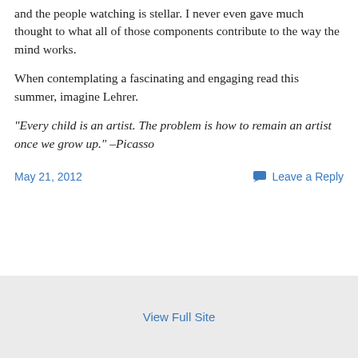and the people watching is stellar. I never even gave much thought to what all of those components contribute to the way the mind works.
When contemplating a fascinating and engaging read this summer, imagine Lehrer.
“Every child is an artist. The problem is how to remain an artist once we grow up.” –Picasso
May 21, 2012    Leave a Reply
View Full Site